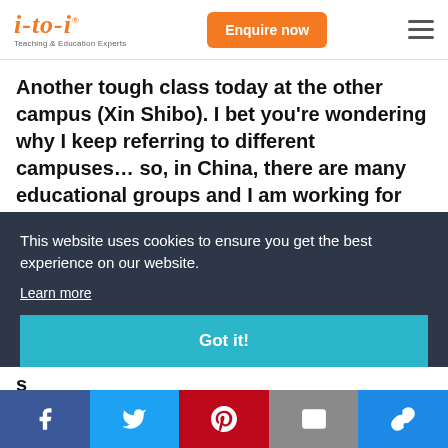i-to-i Teaching & Education Experts — Enquire now
Another tough class today at the other campus (Xin Shibo). I bet you're wondering why I keep referring to different campuses… so, in China, there are many educational groups and I am working for one of them. There are 9 primary schools within the group and I teach at 3 of them... the ... the ... the ...
This website uses cookies to ensure you get the best experience on our website. Learn more
Got it!
Facebook, Twitter, Pinterest, Email, Link social share bar